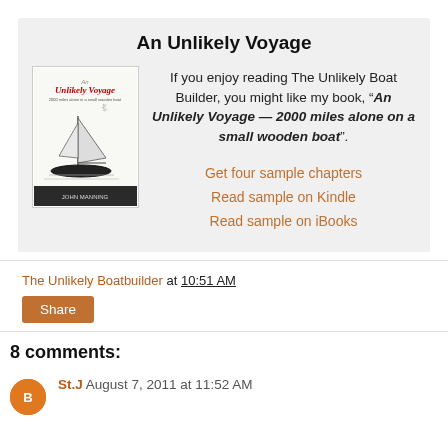An Unlikely Voyage
[Figure (illustration): Book cover for 'An Unlikely Voyage' showing a sailing boat on water, black and white sketch illustration with red title text at the top.]
If you enjoy reading The Unlikely Boat Builder, you might like my book, “An Unlikely Voyage — 2000 miles alone on a small wooden boat”.
Get four sample chapters
Read sample on Kindle
Read sample on iBooks
The Unlikely Boatbuilder at 10:51 AM
Share
8 comments:
St.J August 7, 2011 at 11:52 AM